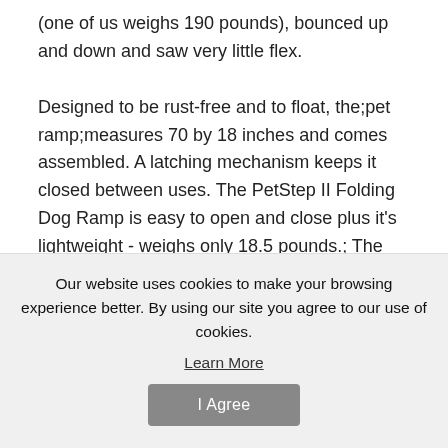(one of us weighs 190 pounds), bounced up and down and saw very little flex. Designed to be rust-free and to float, the;pet ramp;measures 70 by 18 inches and comes assembled. A latching mechanism keeps it closed between uses. The PetStep II Folding Dog Ramp is easy to open and close plus it's lightweight - weighs only 18.5 pounds.; The new non-slip surface is great going up and down. No slipping and sliding. The rubberized ribbed surface grabs dirt...
Our website uses cookies to make your browsing experience better. By using our site you agree to our use of cookies. Learn More
I Agree